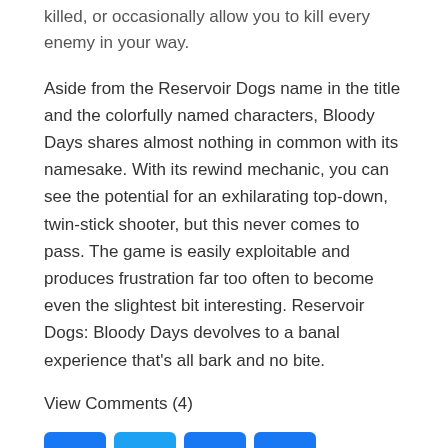killed, or occasionally allow you to kill every enemy in your way.
Aside from the Reservoir Dogs name in the title and the colorfully named characters, Bloody Days shares almost nothing in common with its namesake. With its rewind mechanic, you can see the potential for an exhilarating top-down, twin-stick shooter, but this never comes to pass. The game is easily exploitable and produces frustration far too often to become even the slightest bit interesting. Reservoir Dogs: Bloody Days devolves to a banal experience that's all bark and no bite.
View Comments (4)
[Figure (infographic): Social share buttons: Facebook, Twitter, Email, and a Plus/Share button, each as blue rounded square icons.]
No related posts.
RELATED POSTS
[Figure (photo): Thumbnail image for Dragon Ball Xenoverse 2 Review Roundup article, showing fiery orange/red imagery.]
DRAGON BALL XENOVERSE 2 REVIEW ROUNDUP